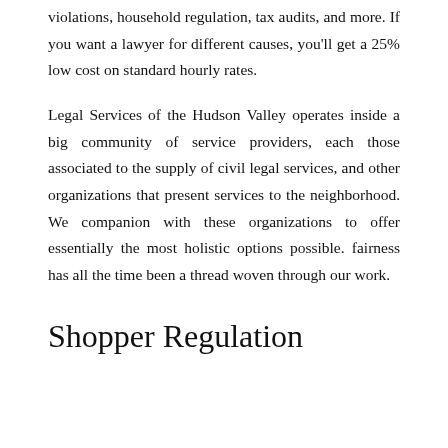violations, household regulation, tax audits, and more. If you want a lawyer for different causes, you'll get a 25% low cost on standard hourly rates.
Legal Services of the Hudson Valley operates inside a big community of service providers, each those associated to the supply of civil legal services, and other organizations that present services to the neighborhood. We companion with these organizations to offer essentially the most holistic options possible. fairness has all the time been a thread woven through our work.
Shopper Regulation